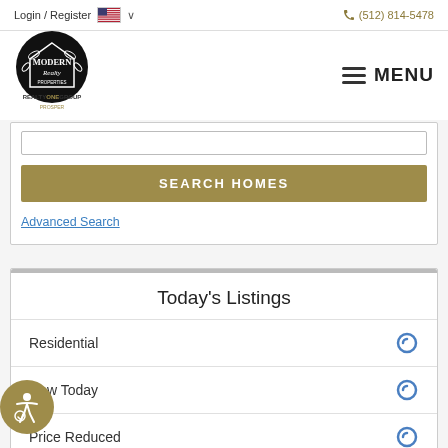Login / Register   🇺🇸 ∨          ☎ (512) 814-5478
[Figure (logo): Modern Realty circular black logo with wreath and REALTY ONE GROUP PROSPER text below]
≡ MENU
SEARCH HOMES
Advanced Search
Today's Listings
Residential
New Today
Price Reduced